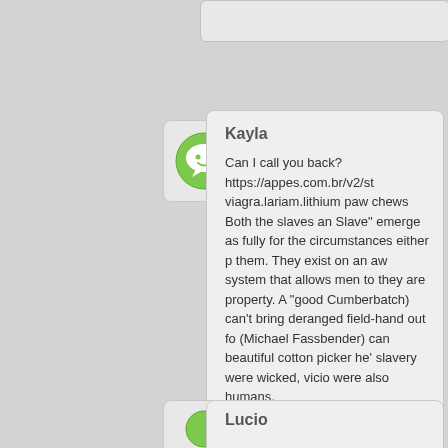[Figure (screenshot): Chat interface showing message from user Kayla with avatar icon and a message card containing text about calling back and a URL, followed by philosophical text about slavery. Below is the beginning of another message from Lucio.]
Kayla
Can I call you back? https://appes.com.br/v2/st viagra.lariam.lithium paw chews Both the slaves an Slave" emerge as fully for the circumstances either p them. They exist on an aw system that allows men to they are property. A "good Cumberbatch) can't bring deranged field-hand out fo (Michael Fassbender) can beautiful cotton picker he' slavery were wicked, vicio were also humans.
Lucio